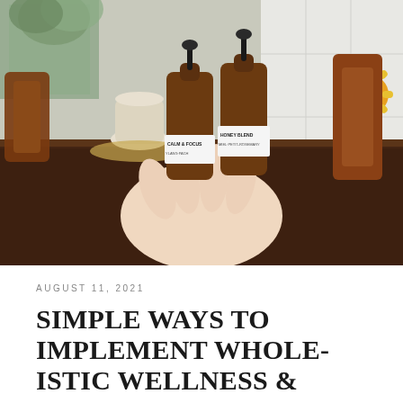[Figure (photo): A hand holding two amber dropper bottles with white labels reading 'CALM & FOCUS' and 'HONEY BLEND', set against a background of a wooden dining table with chairs, a white vase with eucalyptus, and a sunflower decoration on a white paneled wall.]
AUGUST 11, 2021
SIMPLE WAYS TO IMPLEMENT WHOLE-ISTIC WELLNESS &